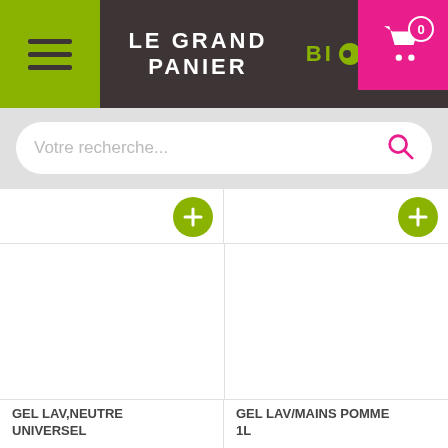LE GRAND PANIER BIO DRIVE
Votre recherche...
GEL LAV,NEUTRE UNIVERSEL
GEL LAV/MAINS POMME 1L
8,12 €